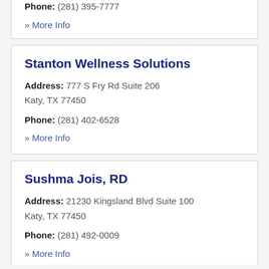Phone: (281) 395-7777
» More Info
Stanton Wellness Solutions
Address: 777 S Fry Rd Suite 206 Katy, TX 77450
Phone: (281) 402-6528
» More Info
Sushma Jois, RD
Address: 21230 Kingsland Blvd Suite 100 Katy, TX 77450
Phone: (281) 492-0009
» More Info